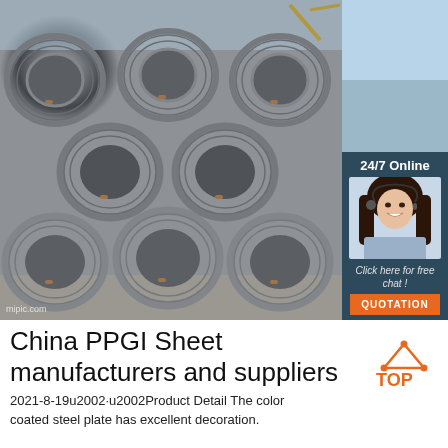[Figure (photo): Stack of steel wire rod coils piled outdoors with a crane visible in the background. Watermark 'mipic.com' in bottom left.]
[Figure (infographic): Dark blue side panel advertisement showing '24/7 Online', a woman with headset, 'Click here for free chat!', and an orange QUOTATION button.]
China PPGI Sheet manufacturers and suppliers
2021-8-19u2002·u2002Product Detail The color coated steel plate has excellent decoration.